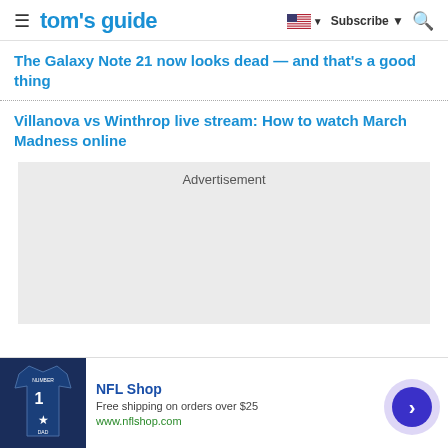tom's guide
The Galaxy Note 21 now looks dead — and that's a good thing
Villanova vs Winthrop live stream: How to watch March Madness online
[Figure (other): Advertisement placeholder box (gray background)]
[Figure (other): NFL Shop bottom banner advertisement with jersey image, title 'NFL Shop', description 'Free shipping on orders over $25', URL 'www.nflshop.com', and a blue arrow circle button]